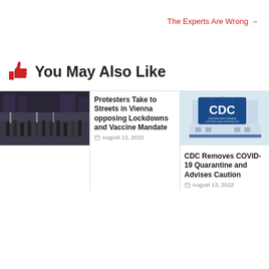The Experts Are Wrong →
👍 You May Also Like
[Figure (photo): Crowd of protesters in street with flags and signs, Vienna protest]
Protesters Take to Streets in Vienna opposing Lockdowns and Vaccine Mandates
August 13, 2022
[Figure (photo): CDC building sign - Centers for Disease Control and Prevention]
CDC Removes COVID-19 Quarantine and Advises Caution
August 13, 2022
[Figure (photo): Ben Stiller with another person, visiting Ukraine]
Ben Stiller Visits War-Torn Ukraine on Monday
June 23, 2022